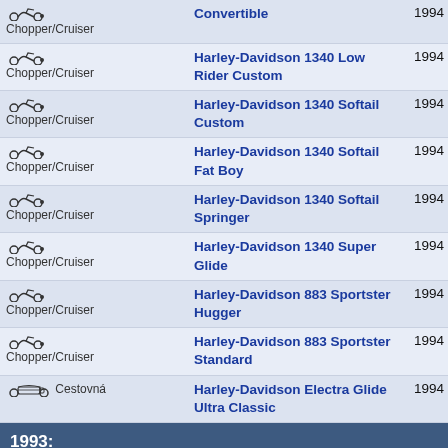| Category | Model | Year |
| --- | --- | --- |
| Chopper/Cruiser | Convertible | 1994 |
| Chopper/Cruiser | Harley-Davidson 1340 Low Rider Custom | 1994 |
| Chopper/Cruiser | Harley-Davidson 1340 Softail Custom | 1994 |
| Chopper/Cruiser | Harley-Davidson 1340 Softail Fat Boy | 1994 |
| Chopper/Cruiser | Harley-Davidson 1340 Softail Springer | 1994 |
| Chopper/Cruiser | Harley-Davidson 1340 Super Glide | 1994 |
| Chopper/Cruiser | Harley-Davidson 883 Sportster Hugger | 1994 |
| Chopper/Cruiser | Harley-Davidson 883 Sportster Standard | 1994 |
| Cestovná | Harley-Davidson Electra Glide Ultra Classic | 1994 |
| 1993: |  |  |
| Chopper/Cruiser | Harley-Davidson 1200 Sportster | 1993 |
| Chopper/Cruiser | Harley-Davidson 1340 Dyna Low Rider | 1993 |
| Chopper/Cruiser | Harley-Davidson 1340 Dyna Wide... | 1993 |